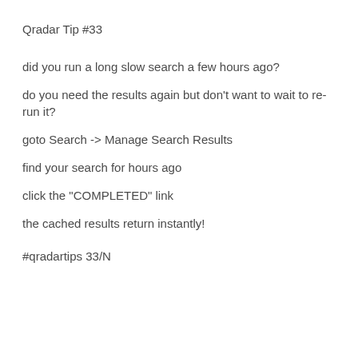Qradar Tip #33
did you run a long slow search a few hours ago?
do you need the results again but don't want to wait to re-run it?
goto Search -> Manage Search Results
find your search for hours ago
click the "COMPLETED" link
the cached results return instantly!
#qradartips 33/N